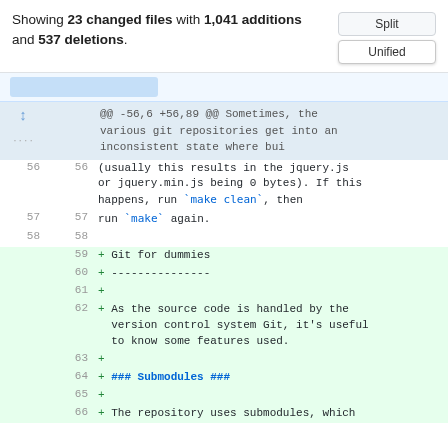Showing 23 changed files with 1,041 additions and 537 deletions.
[Figure (screenshot): GitHub diff view showing buttons: Split and Unified (active)]
@@ -56,6 +56,89 @@ Sometimes, the various git repositories get into an inconsistent state where bui
56  56  (usually this results in the jquery.js or jquery.min.js being 0 bytes). If this happens, run `make clean`, then
57  57  run `make` again.
58  58
59  + Git for dummies
60  + ---------------
61  +
62  + As the source code is handled by the version control system Git, it's useful to know some features used.
63  +
64  + ### Submodules ###
65  +
66  + The repository uses submodules, which